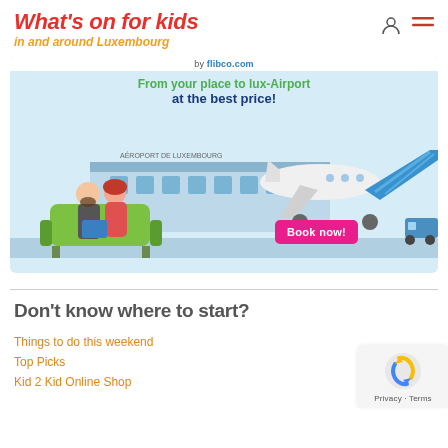What's on for kids in and around Luxembourg
[Figure (illustration): Advertisement banner for flibco.com showing a couple sitting on a green couch with an airplane and airport in the background. Text reads 'by flibco.com', 'From your place to lux-Airport at the best price!' and a 'Book now!' button.]
Don't know where to start?
Things to do this weekend
Top Picks
Kid 2 Kid Online Shop